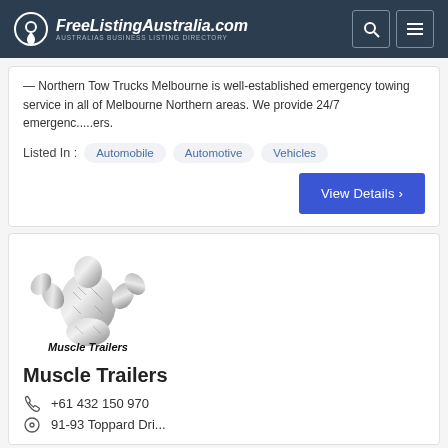FreeListingAustralia.com — AUSTRALIAS BUSINESS LISTING DIRECTORY
...Northern Tow Trucks Melbourne is well-established emergency towing service in all of Melbourne Northern areas. We provide 24/7 emergenc.....ers.
Listed In : Automobile  Automotive  Vehicles
View Details ›
[Figure (logo): Muscle Trailers logo — metallic bodybuilder figure with diamond-plate texture, with text 'Muscle Trailers' below]
Muscle Trailers
+61 432 150 970